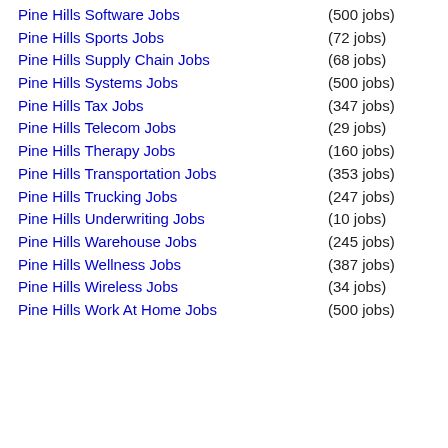Pine Hills Software Jobs (500 jobs)
Pine Hills Sports Jobs (72 jobs)
Pine Hills Supply Chain Jobs (68 jobs)
Pine Hills Systems Jobs (500 jobs)
Pine Hills Tax Jobs (347 jobs)
Pine Hills Telecom Jobs (29 jobs)
Pine Hills Therapy Jobs (160 jobs)
Pine Hills Transportation Jobs (353 jobs)
Pine Hills Trucking Jobs (247 jobs)
Pine Hills Underwriting Jobs (10 jobs)
Pine Hills Warehouse Jobs (245 jobs)
Pine Hills Wellness Jobs (387 jobs)
Pine Hills Wireless Jobs (34 jobs)
Pine Hills Work At Home Jobs (500 jobs)